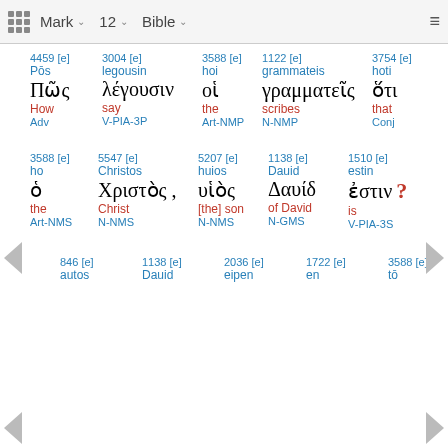Mark  12  Bible
| 4459 [e] | 3004 [e] | 3588 [e] | 1122 [e] | 3754 [e] |
| --- | --- | --- | --- | --- |
| Pōs | legousin | hoi | grammateis | hoti |
| Πῶς | λέγουσιν | οἱ | γραμματεῖς | ὅτι |
| How | say | the | scribes | that |
| Adv | V-PIA-3P | Art-NMP | N-NMP | Conj |
| 3588 [e] | 5547 [e] | 5207 [e] | 1138 [e] | 1510 [e] |
| --- | --- | --- | --- | --- |
| ho | Christos | huios | Dauid | estin |
| ὁ | Χριστὸς , | υἱὸς | Δαυίδ | ἐστιν ? |
| the | Christ | [the] son | of David | is |
| Art-NMS | N-NMS | N-NMS | N-GMS | V-PIA-3S |
| 846 [e] | 1138 [e] | 2036 [e] | 1722 [e] | 3588 [e] |
| --- | --- | --- | --- | --- |
| autos | Dauid | eipen | en | tō |